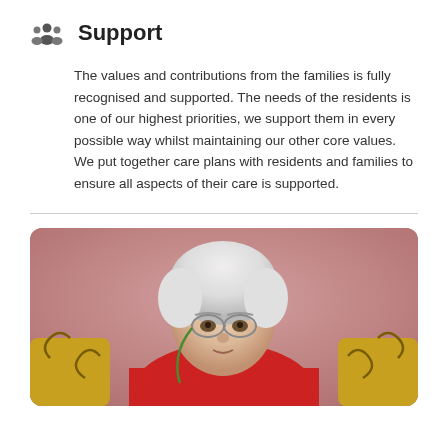Support
The values and contributions from the families is fully recognised and supported. The needs of the residents is one of our highest priorities, we support them in every possible way whilst maintaining our other core values. We put together care plans with residents and families to ensure all aspects of their care is supported.
[Figure (photo): An elderly woman with white hair and glasses wearing a red top, seated on a yellow patterned sofa, looking downward. The background is a soft pinkish-mauve.]